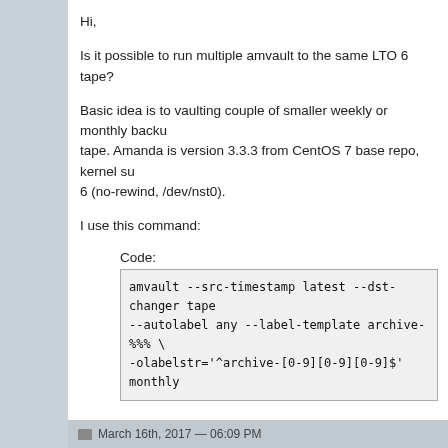Hi,
Is it possible to run multiple amvault to the same LTO 6 tape?
Basic idea is to vaulting couple of smaller weekly or monthly backups to the same tape. Amanda is version 3.3.3 from CentOS 7 base repo, kernel supports LTO 6 (no-rewind, /dev/nst0).
I use this command:
Code:
amvault --src-timestamp latest --dst-changer tape \
--autolabel any --label-template archive-%%% \
-olabelstr='^archive-[0-9][0-9][0-9]$' monthly
and this use about of 30% uncompressed tape space. I want to fill the tape with the same command from month to month.
If this is possible, must I use mt command to rewind/forward/backward the tape, or amvault take care about this?
Thanks and regards,
March 16th, 2017 — 06:09 PM